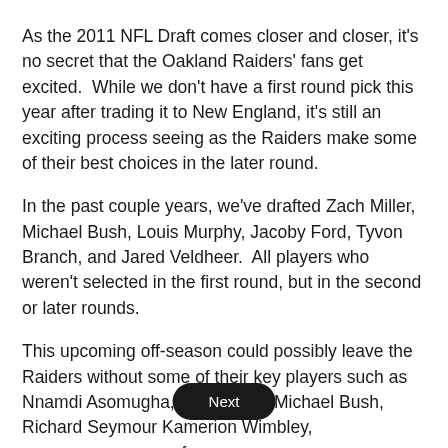As the 2011 NFL Draft comes closer and closer, it's no secret that the Oakland Raiders' fans get excited.  While we don't have a first round pick this year after trading it to New England, it's still an exciting process seeing as the Raiders make some of their best choices in the later round.
In the past couple years, we've drafted Zach Miller, Michael Bush, Louis Murphy, Jacoby Ford, Tyvon Branch, and Jared Veldheer.  All players who weren't selected in the first round, but in the second or later rounds.
This upcoming off-season could possibly leave the Raiders without some of their key players such as Nnamdi Asomugha, Zach Miller, Michael Bush, Richard Seymour Kamerion Wimbley, and f.